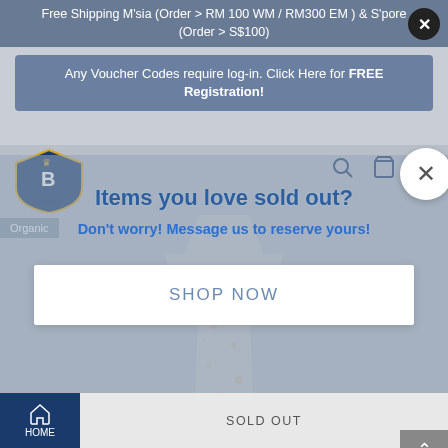Free Shipping M'sia (Order > RM 100 WM / RM300 EM ) & S'pore (Order > S$100)
Any Voucher Codes require log-in. Click Here for FREE Registration!
[Figure (logo): Baron & Co logo with shield emblem]
Items you love sold out?
Don't worry! Message us to reserve yours!
SHOP NOW
Organic
SOLD OUT
HOME